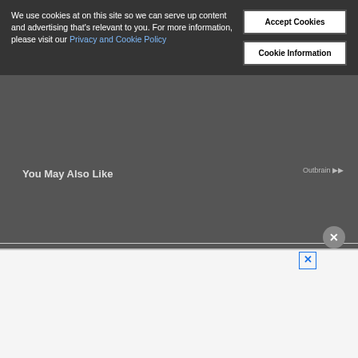We use cookies at on this site so we can serve up content and advertising that's relevant to you. For more information, please visit our Privacy and Cookie Policy
Accept Cookies
Cookie Information
You May Also Like
[Figure (screenshot): Advertisement banner showing 'PLAY FREE BROWSER GAMES' text with colorful gaming characters including a yellow smiley face with X eyes, a green game controller, on a purple background]